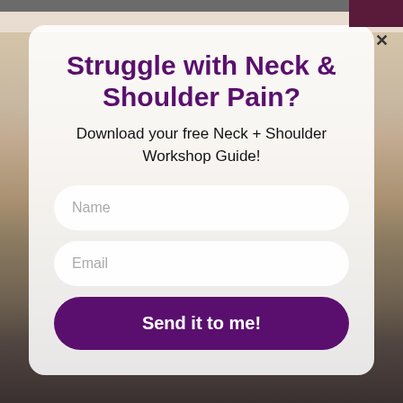[Figure (photo): Blurred background photo of a person practicing yoga/stretching in a warm indoor setting with plants and curtains visible]
Struggle with Neck & Shoulder Pain?
Download your free Neck + Shoulder Workshop Guide!
Name
Email
Send it to me!